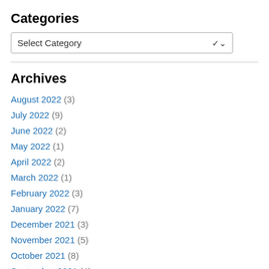Categories
Select Category
August 2022 (3)
July 2022 (9)
June 2022 (2)
May 2022 (1)
April 2022 (2)
March 2022 (1)
February 2022 (3)
January 2022 (7)
December 2021 (3)
November 2021 (5)
October 2021 (8)
September 2021 (4)
August 2021 (6)
July 2021 (6)